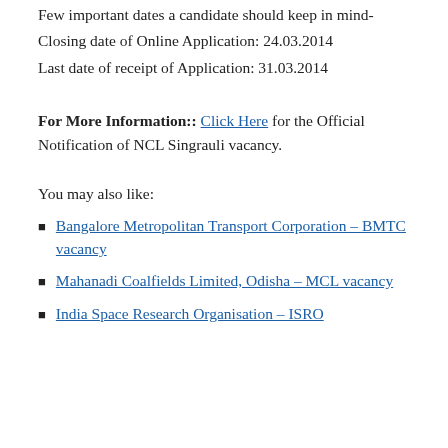Few important dates a candidate should keep in mind-
Closing date of Online Application: 24.03.2014
Last date of receipt of Application: 31.03.2014
For More Information:: Click Here for the Official Notification of NCL Singrauli vacancy.
You may also like:
Bangalore Metropolitan Transport Corporation – BMTC vacancy
Mahanadi Coalfields Limited, Odisha – MCL vacancy
India Space Research Organisation – ISRO